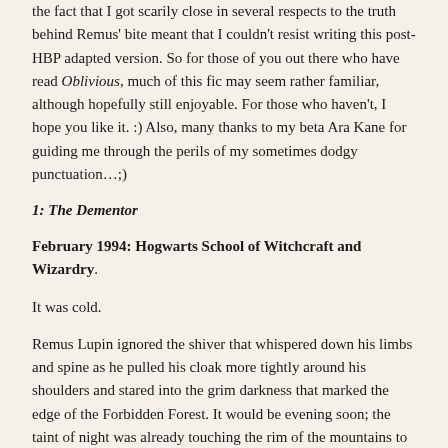the fact that I got scarily close in several respects to the truth behind Remus' bite meant that I couldn't resist writing this post-HBP adapted version. So for those of you out there who have read Oblivious, much of this fic may seem rather familiar, although hopefully still enjoyable. For those who haven't, I hope you like it. :) Also, many thanks to my beta Ara Kane for guiding me through the perils of my sometimes dodgy punctuation…;)
1: The Dementor
February 1994: Hogwarts School of Witchcraft and Wizardry.
It was cold.
Remus Lupin ignored the shiver that whispered down his limbs and spine as he pulled his cloak more tightly around his shoulders and stared into the grim darkness that marked the edge of the Forbidden Forest. It would be evening soon; the taint of night was already touching the rim of the mountains to the east as the orange glow of the setting sun retreated inevitably westwards. He didn't have much time.
And he was the only one who knew just what to look for.